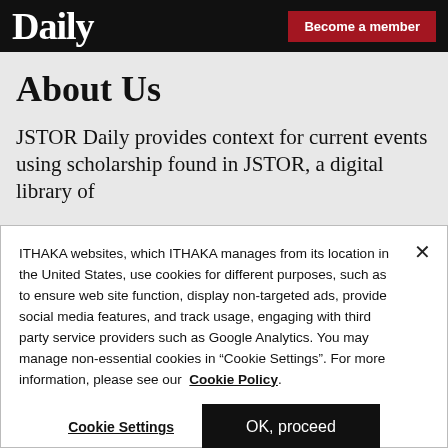Daily | Become a member
About Us
JSTOR Daily provides context for current events using scholarship found in JSTOR, a digital library of
ITHAKA websites, which ITHAKA manages from its location in the United States, use cookies for different purposes, such as to ensure web site function, display non-targeted ads, provide social media features, and track usage, engaging with third party service providers such as Google Analytics. You may manage non-essential cookies in “Cookie Settings”. For more information, please see our Cookie Policy.
Cookie Settings | OK, proceed